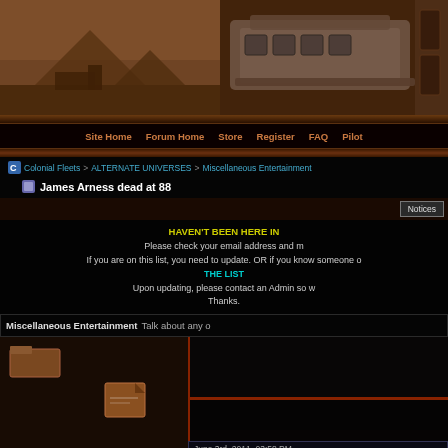[Figure (screenshot): Website banner with pyramids/sphinx sepia photo on left and sci-fi spacecraft image on right]
Site Home   Forum Home   Store   Register   FAQ   Pilot
Colonial Fleets > ALTERNATE UNIVERSES > Miscellaneous Entertainment
James Arness dead at 88
Notices
HAVEN'T BEEN HERE IN A WHILE? Please check your email address and make sure it is current. If you are on this list, you need to update. OR if you know someone on THE LIST Upon updating, please contact an Admin so we can remove you. Thanks.
Miscellaneous Entertainment Talk about any other entertainment
June 3rd, 2011, 03:58 PM